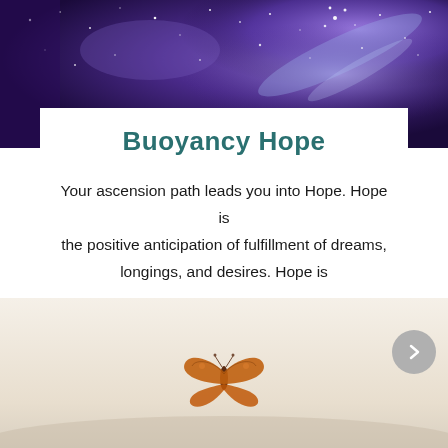[Figure (illustration): Purple and blue galaxy/nebula background image with stars at the top of the page]
Buoyancy Hope
Your ascension path leads you into Hope. Hope is the positive anticipation of fulfillment of dreams, longings, and desires. Hope is
[Figure (illustration): A monarch butterfly flying against a soft beige/cream sky background at the bottom of the page]